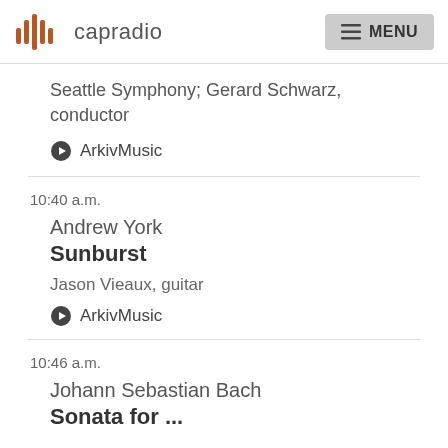capradio | MENU
Seattle Symphony; Gerard Schwarz, conductor
ArkivMusic
10:40 a.m.
Andrew York
Sunburst
Jason Vieaux, guitar
ArkivMusic
10:46 a.m.
Johann Sebastian Bach
Sonata for...